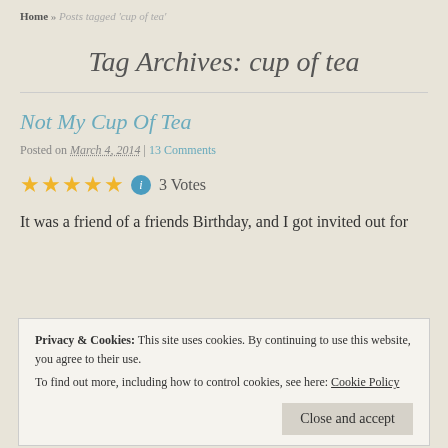Home » Posts tagged 'cup of tea'
Tag Archives: cup of tea
Not My Cup Of Tea
Posted on March 4, 2014 | 13 Comments
★★★★★ ⓘ 3 Votes
It was a friend of a friends Birthday, and I got invited out for
Privacy & Cookies: This site uses cookies. By continuing to use this website, you agree to their use.
To find out more, including how to control cookies, see here: Cookie Policy
Close and accept
not even a little teapot to keep it company, it's very, sweetly The